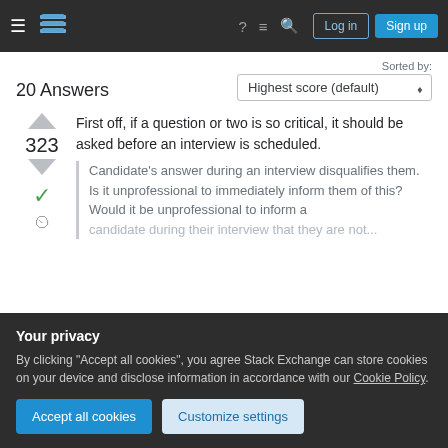Stack Exchange navigation bar with hamburger menu, logo, icons, Log in and Sign up buttons
20 Answers
Sorted by: Highest score (default)
First off, if a question or two is so critical, it should be asked before an interview is scheduled.
323
Candidate's answer during an interview disqualifies them. Is it unprofessional to immediately inform them of this? Would it be unprofessional to inform a candidate during their interview that they are not...
or to start shouting at them to get #*@% out, but to
Your privacy
By clicking "Accept all cookies", you agree Stack Exchange can store cookies on your device and disclose information in accordance with our Cookie Policy.
Accept all cookies
Customize settings